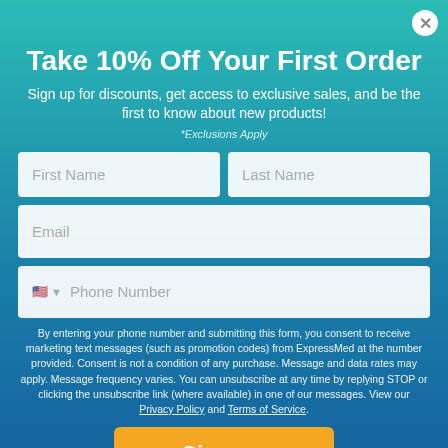Take 10% Off Your First Order
Sign up for discounts, get access to exclusive sales, and be the first to know about new products!
*Exclusions Apply
First Name
Last Name
Email
Phone Number
By entering your phone number and submitting this form, you consent to receive marketing text messages (such as promotion codes) from ExpressMed at the number provided. Consent is not a condition of any purchase. Message and data rates may apply. Message frequency varies. You can unsubscribe at any time by replying STOP or clicking the unsubscribe link (where available) in one of our messages. View our Privacy Policy and Terms of Service.
Sign up